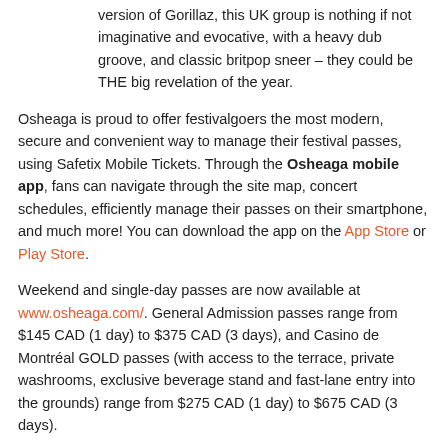version of Gorillaz, this UK group is nothing if not imaginative and evocative, with a heavy dub groove, and classic britpop sneer – they could be THE big revelation of the year.
Osheaga is proud to offer festivalgoers the most modern, secure and convenient way to manage their festival passes, using Safetix Mobile Tickets. Through the Osheaga mobile app, fans can navigate through the site map, concert schedules, efficiently manage their passes on their smartphone, and much more! You can download the app on the App Store or Play Store.
Weekend and single-day passes are now available at www.osheaga.com/. General Admission passes range from $145 CAD (1 day) to $375 CAD (3 days), and Casino de Montréal GOLD passes (with access to the terrace, private washrooms, exclusive beverage stand and fast-lane entry into the grounds) range from $275 CAD (1 day) to $675 CAD (3 days).
[Figure (photo): Dark concert/event photo at the bottom of the page]